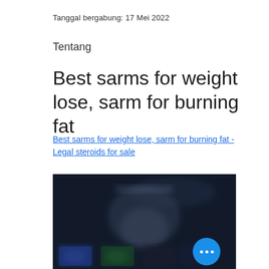Tanggal bergabung: 17 Mei 2022
Tentang
Best sarms for weight lose, sarm for burning fat
Best sarms for weight lose, sarm for burning fat - Legal steroids for sale
[Figure (photo): Blurred/dark image showing supplement products or fitness-related items with a floating action button (three dots) in the lower right corner.]